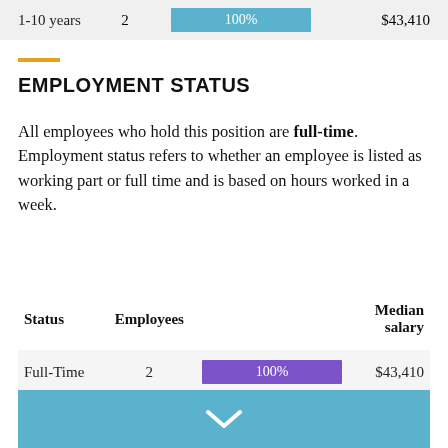| 1-10 years | Employees |  | Median salary |
| --- | --- | --- | --- |
| 1-10 years | 2 | 100% | $43,410 |
EMPLOYMENT STATUS
All employees who hold this position are full-time. Employment status refers to whether an employee is listed as working part or full time and is based on hours worked in a week.
| Status | Employees |  | Median salary |
| --- | --- | --- | --- |
| Full-Time | 2 | 100% | $43,410 |
[Figure (other): Blue banner with chevron/check mark icon at bottom of page]